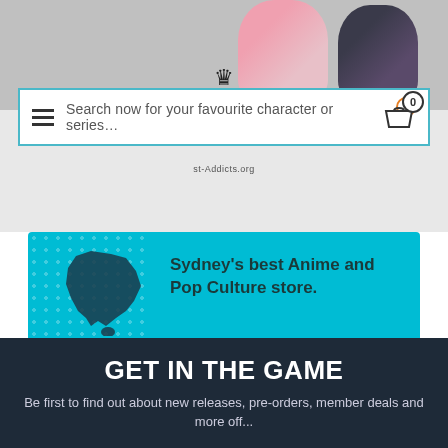[Figure (screenshot): Website header with anime character figures (pink-haired and dark-haired characters) in the background banner]
[Figure (screenshot): Search bar with hamburger menu icon on the left and shopping cart icon with badge '0' on the right. Border in teal/cyan color. Placeholder text: Search now for your favourite character or series...]
st-Addicts.org
Sydney's best Anime and Pop Culture store.
We carry a huge range of anime merchandise ranging from popular titles to niche series. Established 27/03/2007.
GET IN THE GAME
Be first to find out about new releases, pre-orders, member deals and more off...